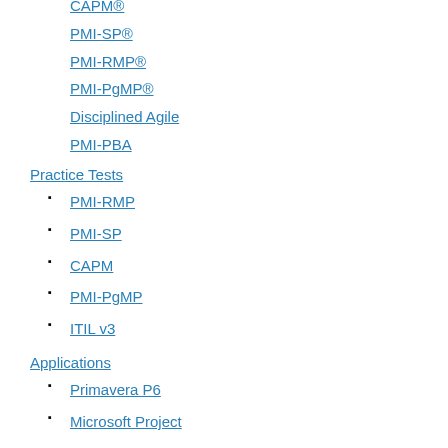CAPM®
PMI-SP®
PMI-RMP®
PMI-PgMP®
Disciplined Agile
PMI-PBA
Practice Tests
PMI-RMP
PMI-SP
CAPM
PMI-PgMP
ITIL v3
Applications
Primavera P6
Microsoft Project
Microsoft Excel
Microsoft PowerPoint
Microsoft Outlook
Microsoft Access